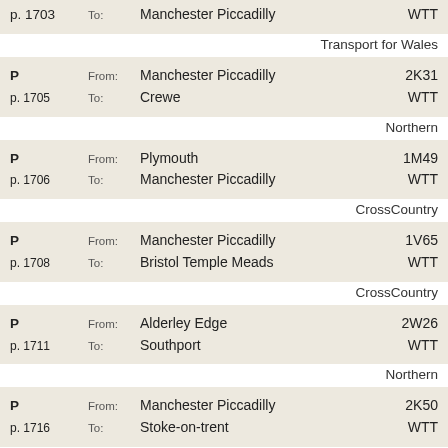| P/Page | Direction | Station | Code/Type |
| --- | --- | --- | --- |
| P
p. 1703 | To: | Manchester Piccadilly | WTT |
|  |  | Transport for Wales |  |
| P
p. 1705 | From:
To: | Manchester Piccadilly
Crewe | 2K31
WTT |
|  |  | Northern |  |
| P
p. 1706 | From:
To: | Plymouth
Manchester Piccadilly | 1M49
WTT |
|  |  | CrossCountry |  |
| P
p. 1708 | From:
To: | Manchester Piccadilly
Bristol Temple Meads | 1V65
WTT |
|  |  | CrossCountry |  |
| P
p. 1711 | From:
To: | Alderley Edge
Southport | 2W26
WTT |
|  |  | Northern |  |
| P
p. 1716 | From:
To: | Manchester Piccadilly
Stoke-on-trent | 2K50
WTT |
|  |  | Northern |  |